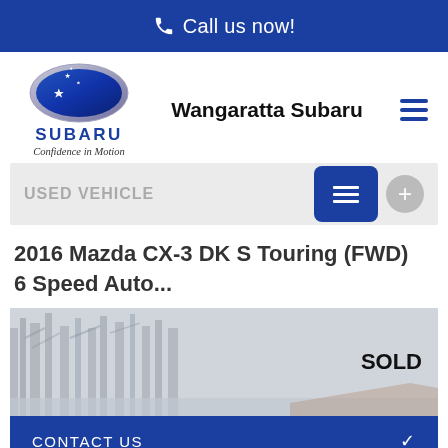Call us now!
[Figure (logo): Subaru logo with star emblem, SUBARU wordmark, and tagline 'Confidence in Motion'. Dealer name 'Wangaratta Subaru' centered.]
USED VEHICLE
2016 Mazda CX-3 DK S Touring (FWD) 6 Speed Auto...
[Figure (photo): Outdoor winter scene with bare trees and a building, overlaid with SOLD text in the top right.]
CONTACT US
FINANCE THIS VEHICLE